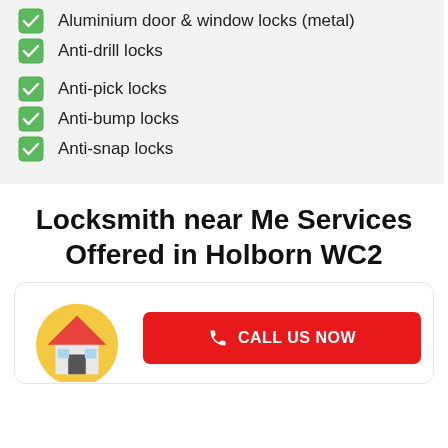Aluminium door & window locks (metal)
Anti-drill locks
Anti-pick locks
Anti-bump locks
Anti-snap locks
Locksmith near Me Services Offered in Holborn WC2
[Figure (illustration): A house icon with a red roof and grey walls on a yellow/gold circular background, representing residential locksmith services. Adjacent is a red 'Call Us Now' button with a phone icon.]